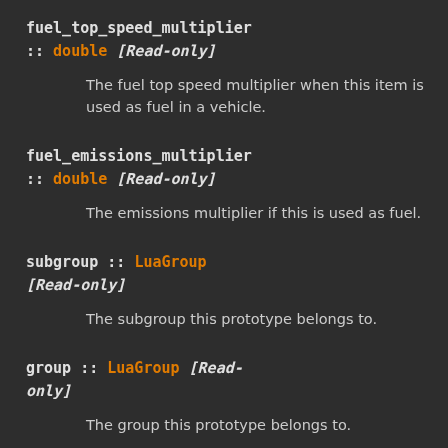fuel_top_speed_multiplier :: double [Read-only]
The fuel top speed multiplier when this item is used as fuel in a vehicle.
fuel_emissions_multiplier :: double [Read-only]
The emissions multiplier if this is used as fuel.
subgroup :: LuaGroup [Read-only]
The subgroup this prototype belongs to.
group :: LuaGroup [Read-only]
The group this prototype belongs to.